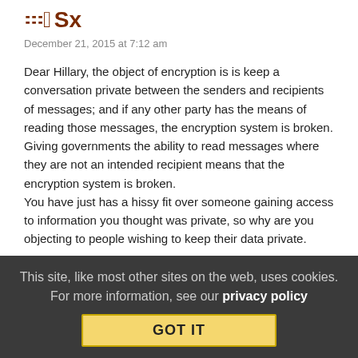[Figure (logo): Website logo/brand mark, partial text visible in dark brown/maroon bold letters]
December 21, 2015 at 7:12 am
Dear Hillary, the object of encryption is is keep a conversation private between the senders and recipients of messages; and if any other party has the means of reading those messages, the encryption system is broken. Giving governments the ability to read messages where they are not an intended recipient means that the encryption system is broken.
You have just has a hissy fit over someone gaining access to information you thought was private, so why are you objecting to people wishing to keep their data private.
Collapse replies (1) | Reply | View in chronology
This site, like most other sites on the web, uses cookies. For more information, see our privacy policy
GOT IT